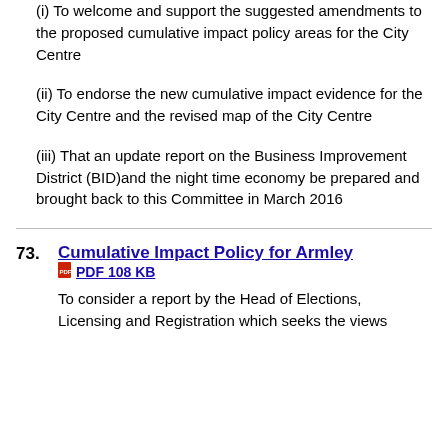(i)  To welcome and support the suggested amendments to the proposed cumulative impact policy areas for the City Centre
(ii)  To endorse the new cumulative impact evidence for the City Centre and the revised map of the City Centre
(iii)  That an update report on the Business Improvement District (BID)and the night time economy be prepared and brought back to this Committee in March 2016
73.  Cumulative Impact Policy for Armley  PDF 108 KB
To consider a report by the Head of Elections, Licensing and Registration which seeks the views